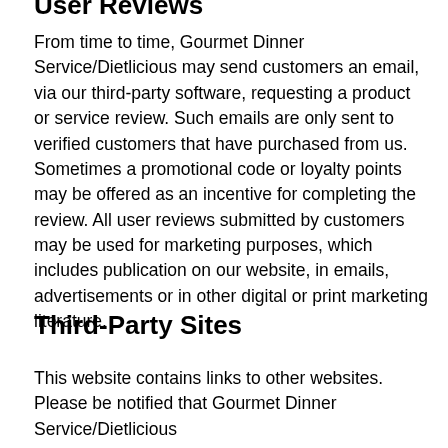User Reviews
From time to time, Gourmet Dinner Service/Dietlicious may send customers an email, via our third-party software, requesting a product or service review. Such emails are only sent to verified customers that have purchased from us. Sometimes a promotional code or loyalty points may be offered as an incentive for completing the review. All user reviews submitted by customers may be used for marketing purposes, which includes publication on our website, in emails, advertisements or in other digital or print marketing literature.
Third-Party Sites
This website contains links to other websites. Please be notified that Gourmet Dinner Service/Dietlicious cannot be held responsible for their privacy...